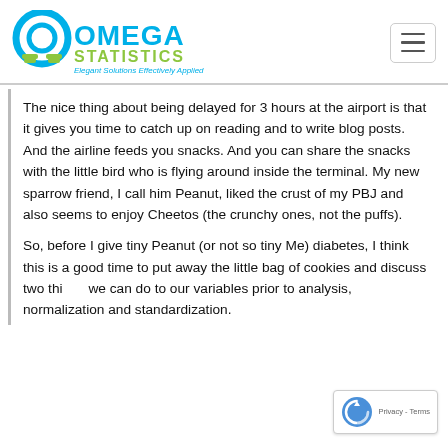Omega Statistics — Elegant Solutions Effectively Applied
The nice thing about being delayed for 3 hours at the airport is that it gives you time to catch up on reading and to write blog posts. And the airline feeds you snacks. And you can share the snacks with the little bird who is flying around inside the terminal. My new sparrow friend, I call him Peanut, liked the crust of my PBJ and also seems to enjoy Cheetos (the crunchy ones, not the puffs).
So, before I give tiny Peanut (or not so tiny Me) diabetes, I think this is a good time to put away the little bag of cookies and discuss two things we can do to our variables prior to analysis, normalization and standardization.